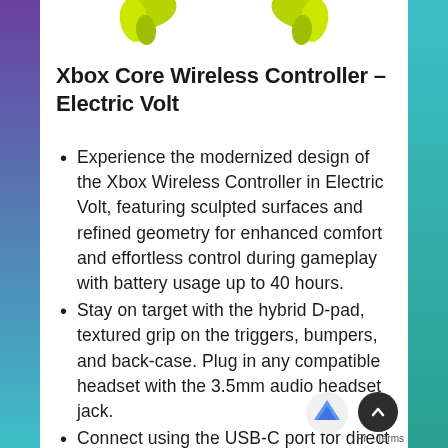[Figure (photo): Partial view of Xbox Core Wireless Controller in Electric Volt (yellow-green) color, showing top portion of the controller peeking from the top of the page]
Xbox Core Wireless Controller – Electric Volt
Experience the modernized design of the Xbox Wireless Controller in Electric Volt, featuring sculpted surfaces and refined geometry for enhanced comfort and effortless control during gameplay with battery usage up to 40 hours.
Stay on target with the hybrid D-pad, textured grip on the triggers, bumpers, and back-case. Plug in any compatible headset with the 3.5mm audio headset jack.
Connect using the USB-C port for direct plug-and-play to console or PC